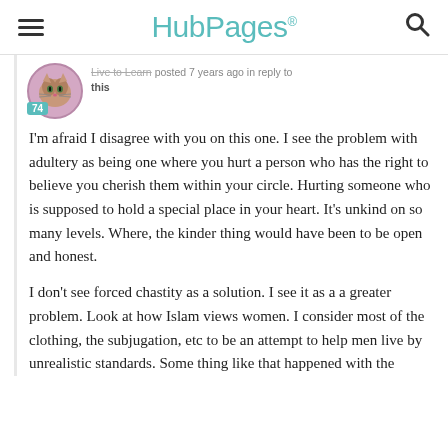HubPages
Live to Learn posted 7 years ago in reply to this
I'm afraid I disagree with you on this one. I see the problem with adultery as being one where you hurt a person who has the right to believe you cherish them within your circle. Hurting someone who is supposed to hold a special place in your heart. It's unkind on so many levels. Where, the kinder thing would have been to be open and honest.
I don't see forced chastity as a solution. I see it as a a greater problem. Look at how Islam views women. I consider most of the clothing, the subjugation, etc to be an attempt to help men live by unrealistic standards. Some thing like that happened with the